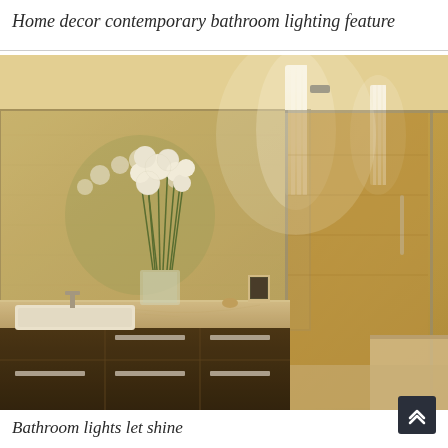Home decor contemporary bathroom lighting feature
[Figure (photo): Contemporary bathroom interior with warm golden-toned stone tile walls, a large mirror, two vertical white tube light sconces, a dark wood vanity with marble countertop, a white vessel sink, white allium flower arrangement in a glass vase, a glass-enclosed shower stall with chrome hardware, and a small framed photo on the counter.]
Bathroom lights let shine